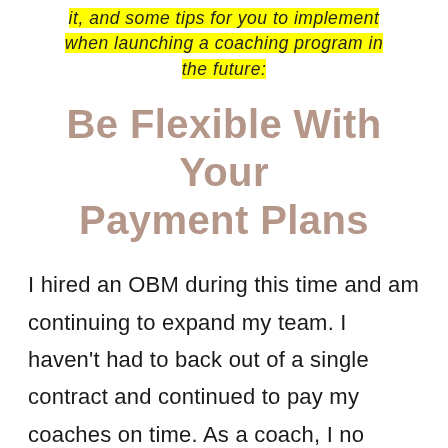it, and some tips for you to implement when launching a coaching program in the future:
Be Flexible With Your Payment Plans
I hired an OBM during this time and am continuing to expand my team. I haven't had to back out of a single contract and continued to pay my coaches on time. As a coach, I no longer have things on my plate so I